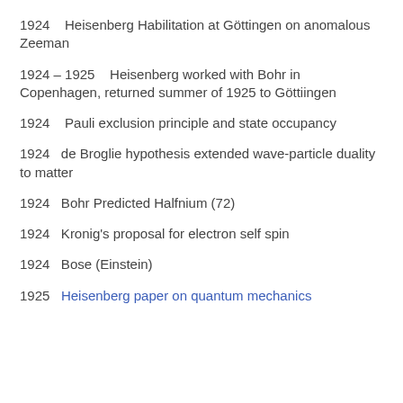1924   Heisenberg Habilitation at Göttingen on anomalous Zeeman
1924 – 1925   Heisenberg worked with Bohr in Copenhagen, returned summer of 1925 to Göttiingen
1924   Pauli exclusion principle and state occupancy
1924   de Broglie hypothesis extended wave-particle duality to matter
1924   Bohr Predicted Halfnium (72)
1924   Kronig's proposal for electron self spin
1924   Bose (Einstein)
1925   Heisenberg paper on quantum mechanics